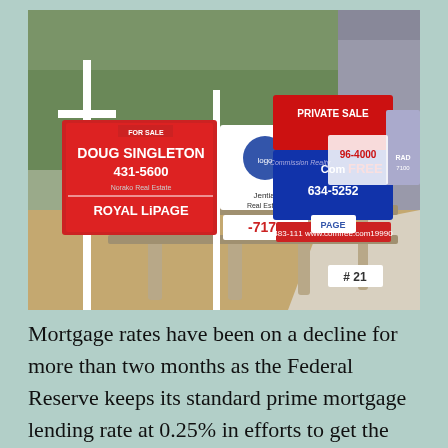[Figure (photo): Multiple real estate for-sale signs clustered along a wooden fence, including signs for Doug Singleton 431-5600 Royal LiPage, ComFREE 634-5252, Private Sale, and other real estate companies, with trees and a sidewalk in the background.]
Mortgage rates have been on a decline for more than two months as the Federal Reserve keeps its standard prime mortgage lending rate at 0.25% in efforts to get the mortgage market to stabilize, and get banks and other mortgage lenders to lower their pricing of lending...